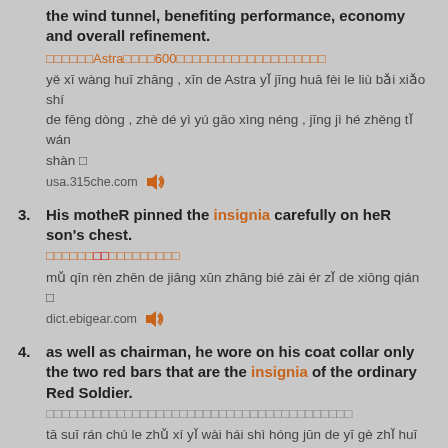the wind tunnel, benefiting performance, economy and overall refinement.
□□□□□□Astra□□□□600□□□□□□□□□□□□□□□□□□□
yě xī wàng huī zhāng , xīn de Astra yǐ jīng huā fèi le liù bǎi xiǎo shí de fēng dòng , zhè dé yì yú gāo xìng néng , jīng jì hé zhěng tǐ wán shàn □
usa.315che.com
3. His motheR pinned the insignia carefully on heR son's chest.
□□□□□□□□□□□□□□□□□
mǔ qīn rèn zhēn de jiāng xūn zhāng bié zài ér zǐ de xiōng qián □
dict.ebigear.com
4. as well as chairman, he wore on his coat collar only the two red bars that are the insignia of the ordinary Red Soldier.
□□□□□□□□□□□□□□□□□□□□□□□□□□□□□□□□□□□□□□□
tā suī rán chú le zhǔ xí yǐ wài hái shì hóng jūn de yī gè zhǐ huī yuán , tā suǒ pèi de lǐng zhāng , yě bú guò shì pǔ tōng zhàn shì suǒ pèi de liǎng tiáo hóng lǐng zhāng □
www.jukuu.com
5. We've covered how the new Astra is in line with Opel's now